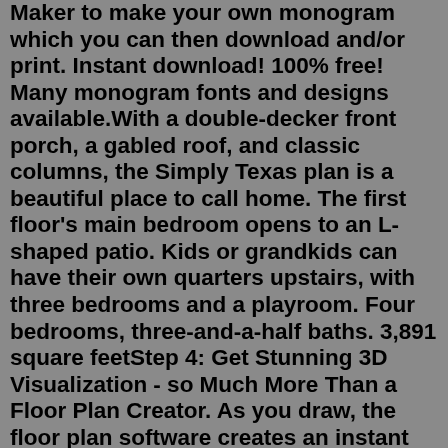Maker to make your own monogram which you can then download and/or print. Instant download! 100% free! Many monogram fonts and designs available.With a double-decker front porch, a gabled roof, and classic columns, the Simply Texas plan is a beautiful place to call home. The first floor's main bedroom opens to an L-shaped patio. Kids or grandkids can have their own quarters upstairs, with three bedrooms and a playroom. Four bedrooms, three-and-a-half baths. 3,891 square feetStep 4: Get Stunning 3D Visualization - so Much More Than a Floor Plan Creator. As you draw, the floor plan software creates an instant 3D model. Walk around the floor plan in Live 3D and capture the interior with beautiful virtual 3D Photos and 360 Views. State-of-the-art rendering is available at the click of a button.Contractor information page: Company information and contact details for Monogram Homes ... Floor Plans. Plan 22151D The Josephine. 2618 sq.ft. Bedrooms: 4; Baths: 2; Build Your Dream Home with one of our 30 Customizable Home Plans. On Your Lot